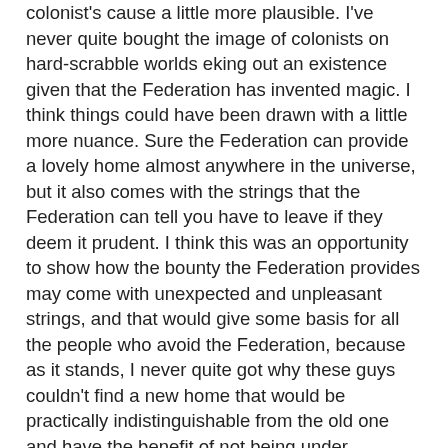colonist's cause a little more plausible. I've never quite bought the image of colonists on hard-scrabble worlds eking out an existence given that the Federation has invented magic. I think things could have been drawn with a little more nuance. Sure the Federation can provide a lovely home almost anywhere in the universe, but it also comes with the strings that the Federation can tell you have to leave if they deem it prudent. I think this was an opportunity to show how the bounty the Federation provides may come with unexpected and unpleasant strings, and that would give some basis for all the people who avoid the Federation, because as it stands, I never quite got why these guys couldn't find a new home that would be practically indistinguishable from the old one and have the benefit of not being under Cardassian threat. I mean, seriously, for all the kvetching about the treaty, the alternative was being the front line of a war with a major galactic power. Would it make everyone feel better to be blown up by a fleet from orbit in a declared war?
Matthew: I very much agree on the lack of nuance and backdrop. I think we could just as well identify with the